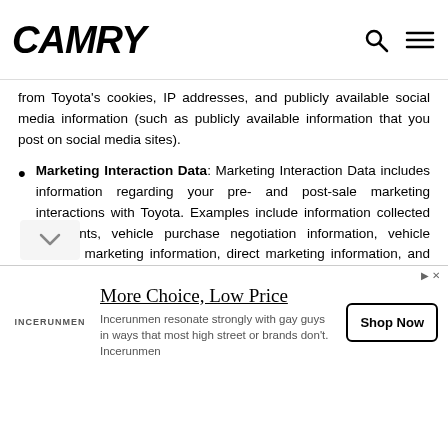CAMRY
from Toyota's cookies, IP addresses, and publicly available social media information (such as publicly available information that you post on social media sites).
Marketing Interaction Data: Marketing Interaction Data includes information regarding your pre- and post-sale marketing interactions with Toyota. Examples include information collected at events, vehicle purchase negotiation information, vehicle service marketing information, direct marketing information, and retention marketing information.
Payment Information: Payment Information includes payment-related information in connection with your purchase of products and/or services from Toyota. Examples include your credit card number or payment platform number.
[Figure (other): Advertisement banner for Incerunmen: 'More Choice, Low Price' with Shop Now button]